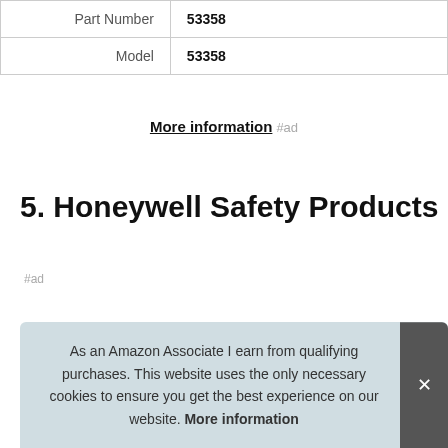| Part Number | 53358 |
| Model | 53358 |
More information #ad
5. Honeywell Safety Products
#ad
As an Amazon Associate I earn from qualifying purchases. This website uses the only necessary cookies to ensure you get the best experience on our website. More information